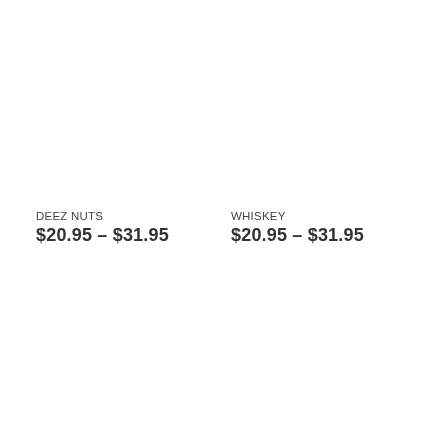DEEZ NUTS
$20.95 – $31.95
WHISKEY
$20.95 – $31.95